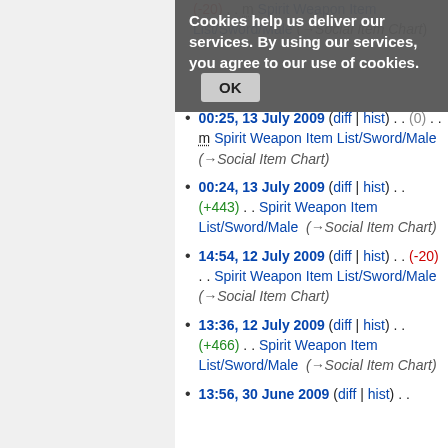Cookies help us deliver our services. By using our services, you agree to our use of cookies. OK
00:25, 13 July 2009 (diff | hist) . . (0) . . m Spirit Weapon Item List/Sword/Male (→Social Item Chart)
00:24, 13 July 2009 (diff | hist) . . (+443) . . Spirit Weapon Item List/Sword/Male (→Social Item Chart)
14:54, 12 July 2009 (diff | hist) . . (-20) . . Spirit Weapon Item List/Sword/Male (→Social Item Chart)
13:36, 12 July 2009 (diff | hist) . . (+466) . . Spirit Weapon Item List/Sword/Male (→Social Item Chart)
13:56, 30 June 2009 (diff | hist) . .